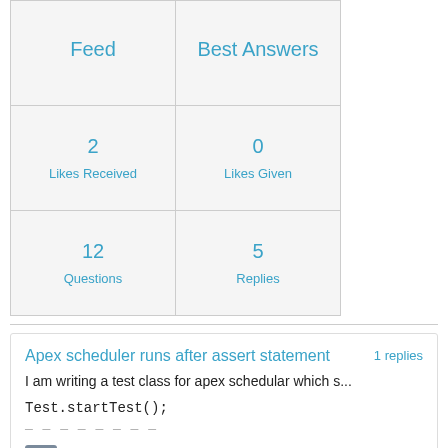| Feed | Best Answers |
| --- | --- |
| 2
Likes Received | 0
Likes Given |
| 12
Questions | 5
Replies |
Apex scheduler runs after assert statement — 1 replies
I am writing a test class for apex schedular which s...
Test.startTest();
Sohan Shirodkar  November 18, 2019  Like 0  Continue reading or reply